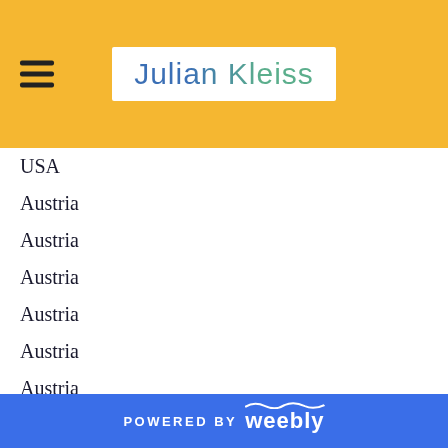Julian Kleiss
USA
Austria
Austria
Austria
Austria
Austria
Austria
Austria
Austria
Austria
Austria
USA
POWERED BY weebly